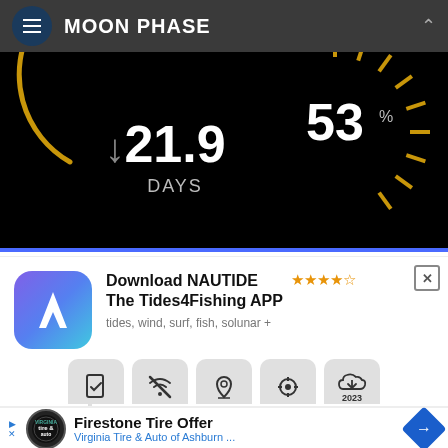MOON PHASE
[Figure (screenshot): Moon phase app UI showing 21.9 DAYS with down arrow and circular gauge showing 53% illumination on dark background]
[Figure (infographic): NAUTIDE app advertisement: Download NAUTIDE The Tides4Fishing APP, 4.5 stars, tides, wind, surf, fish, solunar +, Now available. App icon with A letter on purple/blue gradient.]
[Figure (screenshot): Firestone Tire Offer advertisement — Virginia Tire & Auto of Ashburn ... with navigation diamond icon]